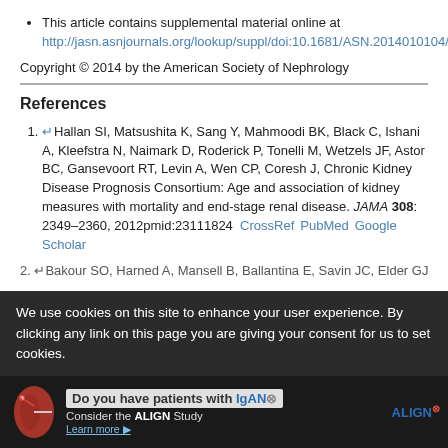This article contains supplemental material online at http://jasn.asnjournals.org/lookup/suppl/doi:10.1681/ASN.2014010104/-/DCSupplemental.
Copyright © 2014 by the American Society of Nephrology
References
↵Hallan SI, Matsushita K, Sang Y, Mahmoodi BK, Black C, Ishani A, Kleefstra N, Naimark D, Roderick P, Tonelli M, Wetzels JF, Astor BC, Gansevoort RT, Levin A, Wen CP, Coresh J, Chronic Kidney Disease Prognosis Consortium: Age and association of kidney measures with mortality and end-stage renal disease. JAMA 308: 2349–2360, 2012pmid:23111824  CrossRef  PubMed  Google Scholar
We use cookies on this site to enhance your user experience. By clicking any link on this page you are giving your consent for us to set cookies.
[Figure (infographic): Advertisement banner: Do you have patients with IgAN? Consider the ALIGN Study. Learn more. With kidney illustration and ALIGN logo.]